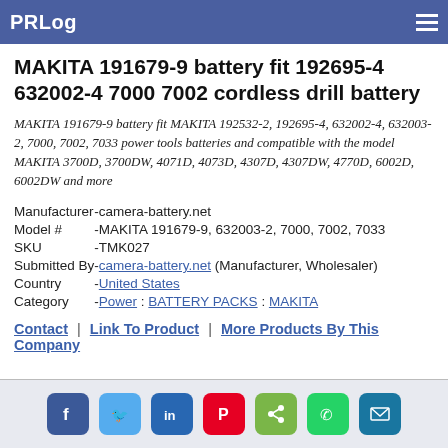PRLog
MAKITA 191679-9 battery fit 192695-4 632002-4 7000 7002 cordless drill battery
MAKITA 191679-9 battery fit MAKITA 192532-2, 192695-4, 632002-4, 632003-2, 7000, 7002, 7033 power tools batteries and compatible with the model MAKITA 3700D, 3700DW, 4071D, 4073D, 4307D, 4307DW, 4770D, 6002D, 6002DW and more
| Manufacturer | - | camera-battery.net |
| Model # | - | MAKITA 191679-9, 632003-2, 7000, 7002, 7033 |
| SKU | - | TMK027 |
| Submitted By | - | camera-battery.net (Manufacturer, Wholesaler) |
| Country | - | United States |
| Category | - | Power : BATTERY PACKS : MAKITA |
Contact | Link To Product | More Products By This Company
[Figure (infographic): Social media share icons: Facebook, Twitter, LinkedIn, Pinterest, Share, WhatsApp, Email]